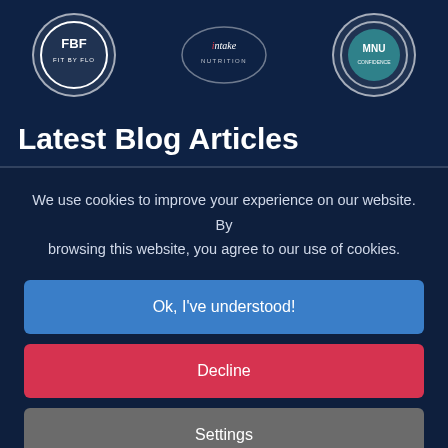[Figure (logo): Three logos in a dark blue banner: FBF (Fit By Flo) circular logo, Intake Nutrition logo, and MNU circular badge logo]
Latest Blog Articles
We use cookies to improve your experience on our website. By browsing this website, you agree to our use of cookies.
Ok, I've understood!
Decline
Settings
More Info